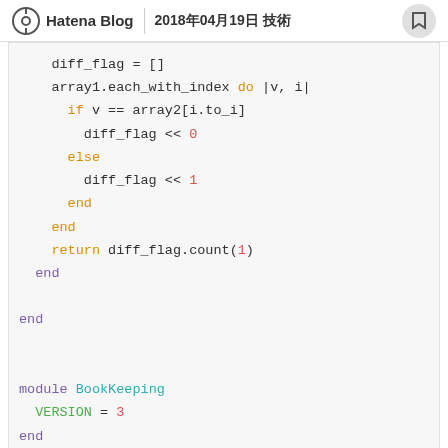Hatena Blog  2018年04月19日 技術
[Figure (screenshot): Ruby code block showing diff_flag array logic with each_with_index loop, if/else/end blocks, return statement, and module BookKeeping with VERSION constant]